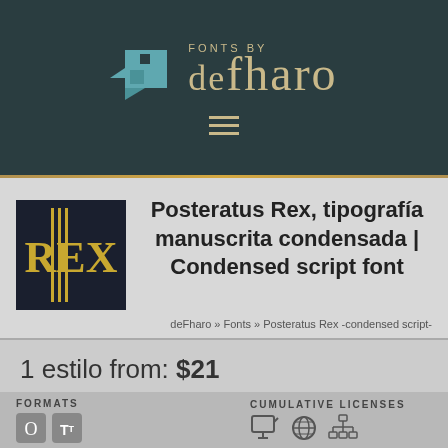[Figure (logo): deFharo fonts website header with teal bird logo and golden text 'FONTS BY deFharo' on dark teal background with hamburger menu icon]
Posteratus Rex, tipografía manuscrita condensada | Condensed script font
deFharo » Fonts » Posteratus Rex -condensed script-
1 estilo from: $21
[Figure (screenshot): Red download button with fish icon: Posteratus Rex -> Download]
FORMATS
CUMULATIVE LICENSES